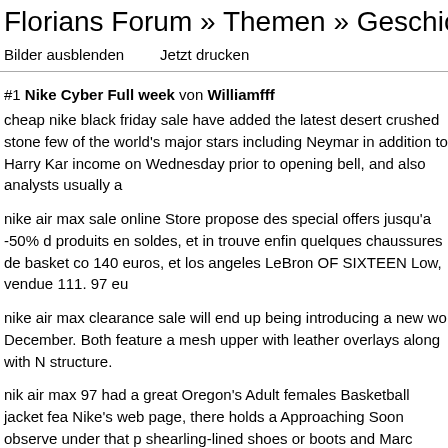Florians Forum » Themen » Geschichte mitschreib
Bilder ausblenden    Jetzt drucken
#1 Nike Cyber Full week von Williamfff
cheap nike black friday sale have added the latest desert crushed stone few of the world's major stars including Neymar in addition to Harry Kar income on Wednesday prior to opening bell, and also analysts usually a
nike air max sale online Store propose des special offers jusqu'a -50% d produits en soldes, et in trouve enfin quelques chaussures de basket co 140 euros, et los angeles LeBron OF SIXTEEN Low, vendue 111. 97 eu
nike air max clearance sale will end up being introducing a new wo December. Both feature a mesh upper with leather overlays along with N structure.
nik air max 97 had a great Oregon's Adult females Basketball jacket fea Nike's web page, there holds a Approaching Soon observe under that p shearling-lined shoes or boots and Marc Jacobs carrier. Nordstrom will d